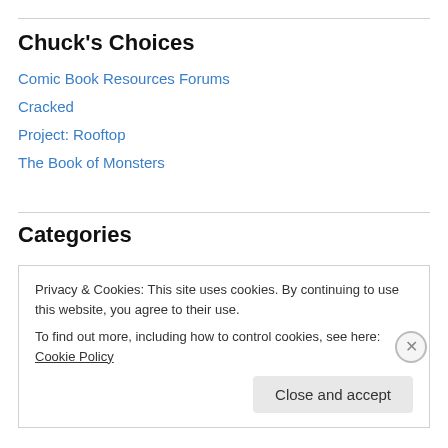Chuck's Choices
Comic Book Resources Forums
Cracked
Project: Rooftop
The Book of Monsters
Categories
Adobe Illustrator
alternate universe
Privacy & Cookies: This site uses cookies. By continuing to use this website, you agree to their use.
To find out more, including how to control cookies, see here: Cookie Policy
Close and accept